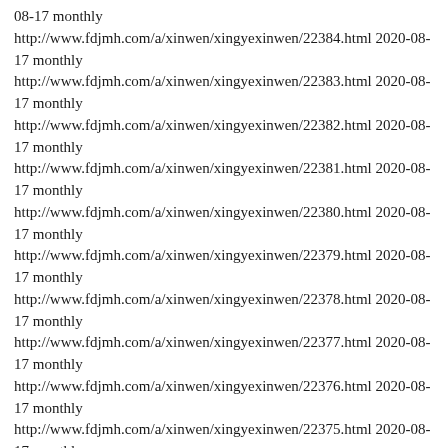08-17 monthly
http://www.fdjmh.com/a/xinwen/xingyexinwen/22384.html 2020-08-17 monthly
http://www.fdjmh.com/a/xinwen/xingyexinwen/22383.html 2020-08-17 monthly
http://www.fdjmh.com/a/xinwen/xingyexinwen/22382.html 2020-08-17 monthly
http://www.fdjmh.com/a/xinwen/xingyexinwen/22381.html 2020-08-17 monthly
http://www.fdjmh.com/a/xinwen/xingyexinwen/22380.html 2020-08-17 monthly
http://www.fdjmh.com/a/xinwen/xingyexinwen/22379.html 2020-08-17 monthly
http://www.fdjmh.com/a/xinwen/xingyexinwen/22378.html 2020-08-17 monthly
http://www.fdjmh.com/a/xinwen/xingyexinwen/22377.html 2020-08-17 monthly
http://www.fdjmh.com/a/xinwen/xingyexinwen/22376.html 2020-08-17 monthly
http://www.fdjmh.com/a/xinwen/xingyexinwen/22375.html 2020-08-17 monthly
http://www.fdjmh.com/a/xinwen/xingyexinwen/22374.html 2020-08-17 monthly
http://www.fdjmh.com/a/xinwen/xingyexinwen/22373.html 2020-08-17 monthly
http://www.fdjmh.com/a/xinwen/xingyexinwen/22372.html 2020-